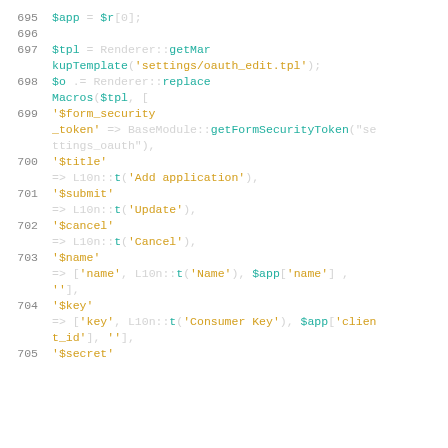[Figure (screenshot): Code snippet showing PHP lines 695–705 with syntax highlighting. Line 695: $app = $r[0]; Line 696: empty. Line 697: $tpl = Renderer::getMarkupTemplate('settings/oauth_edit.tpl'); Line 698: $o .= Renderer::replaceMacros($tpl, [ Line 699: '$form_security_token' => BaseModule::getFormSecurityToken("settings_oauth"), Line 700: '$title' => L10n::t('Add application'), Line 701: '$submit' => L10n::t('Update'), Line 702: '$cancel' => L10n::t('Cancel'), Line 703: '$name' => ['name', L10n::t('Name'), $app['name'] , ''], Line 704: '$key' => ['key', L10n::t('Consumer Key'), $app['client_id'], ''], Line 705: '$secret']